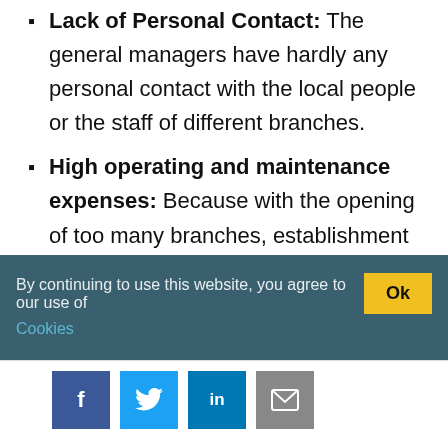Lack of Personal Contact: The general managers have hardly any personal contact with the local people or the staff of different branches.
High operating and maintenance expenses: Because with the opening of too many branches, establishment and maintenance charges of the branches are bound to be high and, as a result, profits may shrink.
Lack of initiative: No branch office can take independent decisions and also a branch manager has limited powers.
By continuing to use this website, you agree to our use of Cookies
Social share buttons: Facebook, Twitter, LinkedIn, Email